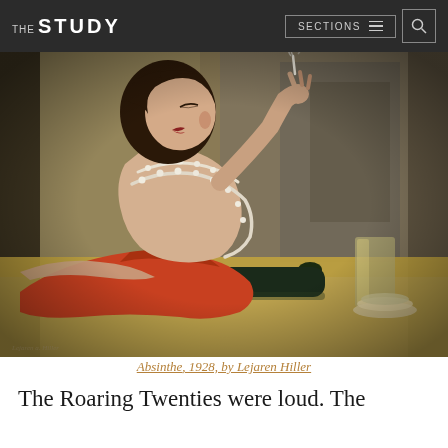THE STUDY | SECTIONS | [search]
[Figure (illustration): Painting of a 1920s woman in a red dress with pearl necklaces, holding a cigarette aloft and leaning against a bar table with a dark bottle and glass. Title: Absinthe, 1928, by Lejaren Hiller.]
Absinthe, 1928, by Lejaren Hiller
The Roaring Twenties were loud. The